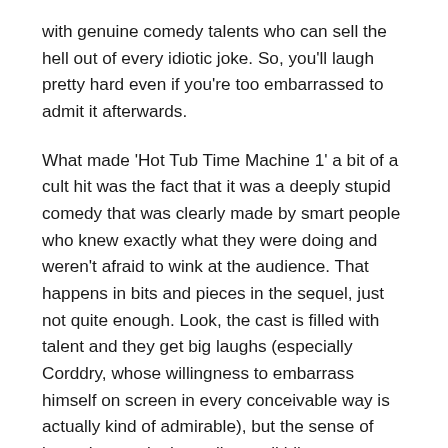with genuine comedy talents who can sell the hell out of every idiotic joke. So, you'll laugh pretty hard even if you're too embarrassed to admit it afterwards.
What made 'Hot Tub Time Machine 1' a bit of a cult hit was the fact that it was a deeply stupid comedy that was clearly made by smart people who knew exactly what they were doing and weren't afraid to wink at the audience. That happens in bits and pieces in the sequel, just not quite enough. Look, the cast is filled with talent and they get big laughs (especially Corddry, whose willingness to embarrass himself on screen in every conceivable way is actually kind of admirable), but the sense of irony that made the wall-to-wall idiocy more palatable last time is pretty much absent here. It's still fun enough and will